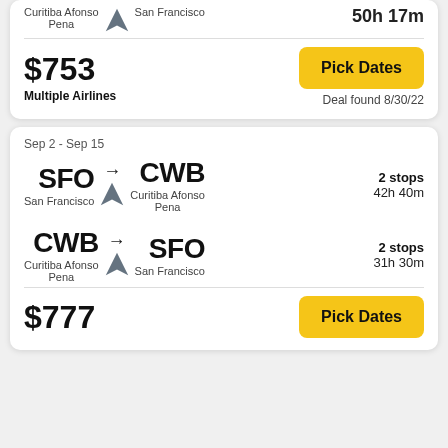Curitiba Afonso Pena → San Francisco | 50h 17m
$753
Multiple Airlines
Pick Dates
Deal found 8/30/22
Sep 2 - Sep 15
SFO → CWB | San Francisco → Curitiba Afonso Pena | 2 stops | 42h 40m
CWB → SFO | Curitiba Afonso Pena → San Francisco | 2 stops | 31h 30m
$777
Pick Dates